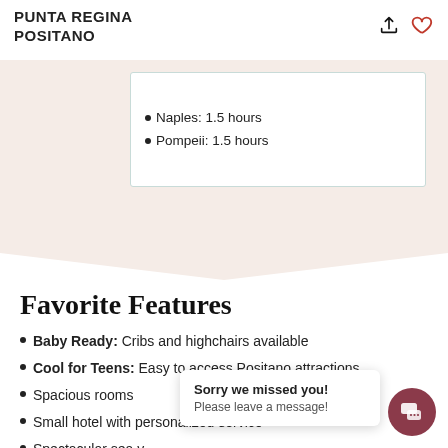PUNTA REGINA POSITANO
Naples: 1.5 hours
Pompeii: 1.5 hours
Favorite Features
Baby Ready: Cribs and highchairs available
Cool for Teens: Easy to access Positano attractions
Spacious rooms
Small hotel with personalized service
Spectacular sea v…
Sorry we missed you! Please leave a message!